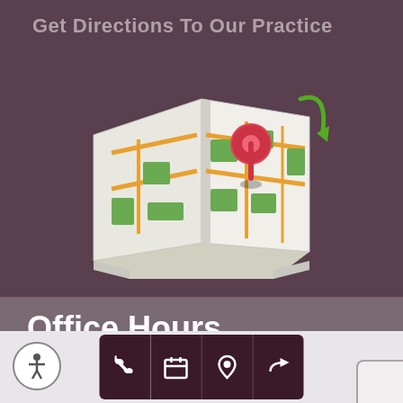Get Directions To Our Practice
[Figure (illustration): Folded map illustration with a red location pin and a green arrow pointing to the pin location]
Office Hours
| Day | Morning Hours | Afternoon Hours |
| --- | --- | --- |
| Monday | 7:30-11:00 AM | 1:30-5:30 PM |
| Tuesday | 7:30-11:00 AM | 1:30-5:30 PM |
| Wednesday | 7:30-11:00 AM | 1:30-5:30 PM |
| Thursday | 7:30-11:00 AM | 1:30-5:30 PM |
QUICK CONTACT
[Figure (infographic): Bottom navigation bar with accessibility icon, phone icon, calendar icon, location pin icon, and share/directions icon]